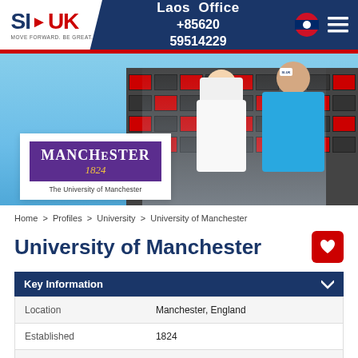SI-UK | Laos Office +85620 59514229
[Figure (photo): Hero banner showing two students (a blonde woman and a man in a blue SI-UK polo shirt) looking at a brochure, with a modern university building in background. The University of Manchester logo overlaid on the left side.]
Home > Profiles > University > University of Manchester
University of Manchester
|  |  |
| --- | --- |
| Location | Manchester, England |
| Established | 1824 |
| Famous Courses | Business, MBA, Marketing |